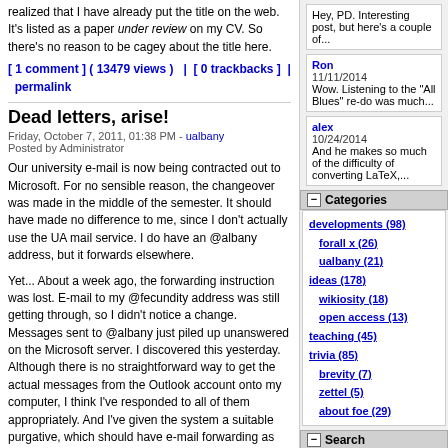realized that I have already put the title on the web. It's listed as a paper under review on my CV. So there's no reason to be cagey about the title here.
[ 1 comment ] ( 13479 views ) | [ 0 trackbacks ] | permalink
Dead letters, arise!
Friday, October 7, 2011, 01:38 PM - ualbany
Posted by Administrator
Our university e-mail is now being contracted out to Microsoft. For no sensible reason, the changeover was made in the middle of the semester. It should have made no difference to me, since I don't actually use the UA mail service. I do have an @albany address, but it forwards elsewhere.
Yet... About a week ago, the forwarding instruction was lost. E-mail to my @fecundity address was still getting through, so I didn't notice a change. Messages sent to @albany just piled up unanswered on the Microsoft server. I discovered this yesterday. Although there is no straightforward way to get the actual messages from the Outlook account onto my computer, I think I've responded to all of them appropriately. And I've given the system a suitable purgative, which should have e-mail forwarding as before.
For anyone who didn't get a response or who got a delayed response because of this - Sorry!
[ add comment ] ( 1055 views ) | [ 0
Hey, PD. Interesting post, but here's a couple of...
Ron
11/11/2014
Wow. Listening to the "All Blues" re-do was much...
alex
10/24/2014
And he makes so much of the difficulty of converting LaTeX,...
Categories
developments (98)
forall x (26)
ualbany (21)
ideas (178)
wikiosity (18)
open access (13)
teaching (45)
trivia (85)
brevity (7)
zettel (5)
about foe (29)
Search
Recent Po...